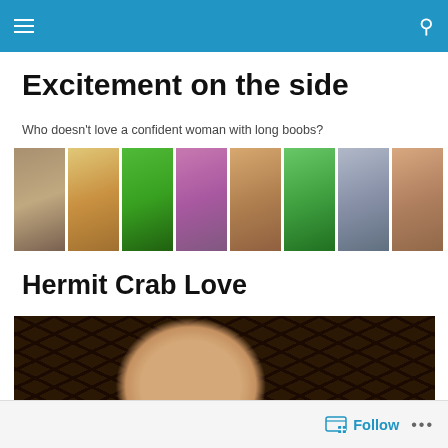[Navigation bar with menu and search icons]
Excitement on the side
Who doesn't love a confident woman with long boobs?
[Figure (photo): A horizontal strip of 8 thumbnail photos showing various women in outdoor/athletic settings]
Hermit Crab Love
[Figure (photo): A baby sleeping on a black and white floral patterned fabric]
Follow  •••